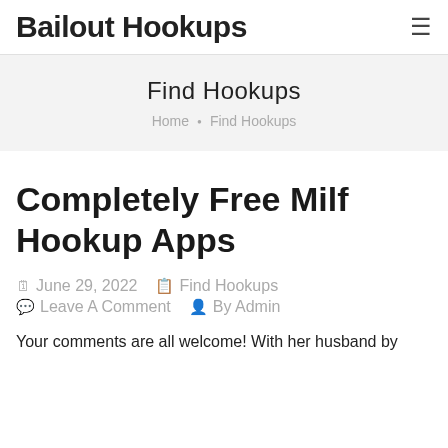Bailout Hookups
Find Hookups
Home • Find Hookups
Completely Free Milf Hookup Apps
June 29, 2022   Find Hookups   Leave A Comment   By Admin
Your comments are all welcome! With her husband by